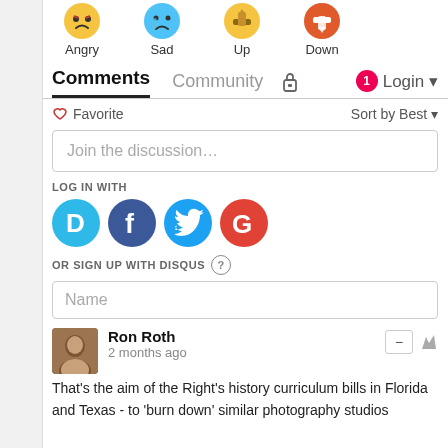[Figure (illustration): Four emoji/reaction icons (Angry, Sad, Up, Down) shown at top]
Angry   Sad   Up   Down
Comments   Community   🔒   1   Login
♡ Favorite   Sort by Best ▾
Join the discussion...
LOG IN WITH
[Figure (logo): Disqus (D), Facebook (f), Twitter bird, Google (G) social login icons]
OR SIGN UP WITH DISQUS ?
Name
Ron Roth
2 months ago
That's the aim of the Right's history curriculum bills in Florida and Texas - to 'burn down' similar photography studios...